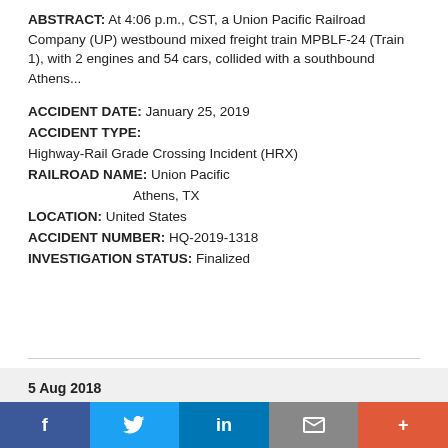ABSTRACT: At 4:06 p.m., CST, a Union Pacific Railroad Company (UP) westbound mixed freight train MPBLF-24 (Train 1), with 2 engines and 54 cars, collided with a southbound Athens...
ACCIDENT DATE: January 25, 2019
ACCIDENT TYPE:
Highway-Rail Grade Crossing Incident (HRX)
RAILROAD NAME: Union Pacific
                Athens, TX
LOCATION: United States
ACCIDENT NUMBER: HQ-2019-1318
INVESTIGATION STATUS: Finalized
5 Aug 2018
[Figure (other): Social media sharing bar with Facebook, Twitter, LinkedIn, Email, and More buttons]